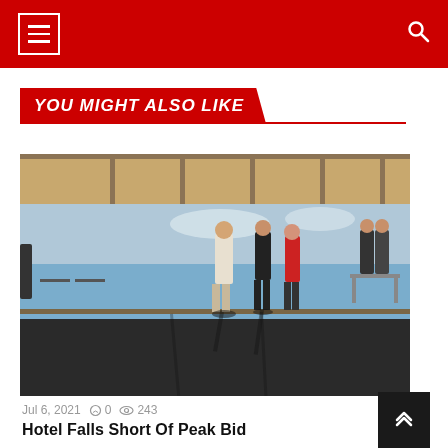Navigation bar with menu icon and search icon
YOU MIGHT ALSO LIKE
[Figure (photo): Indoor space with large floor-to-ceiling windows overlooking trees and a bay/ocean view. Several people standing in the space, with long shadows on the floor. Tables and chairs visible. Appears to be a hotel or function room under renovation or inspection.]
Jul 6, 2021  0  243
Hotel Falls Short Of Peak Bid